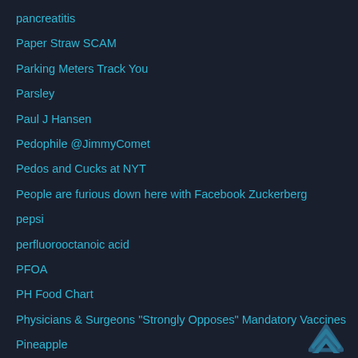pancreatitis
Paper Straw SCAM
Parking Meters Track You
Parsley
Paul J Hansen
Pedophile @JimmyComet
Pedos and Cucks at NYT
People are furious down here with Facebook Zuckerberg
pepsi
perfluorooctanoic acid
PFOA
PH Food Chart
Physicians & Surgeons "Strongly Opposes" Mandatory Vaccines
Pineapple